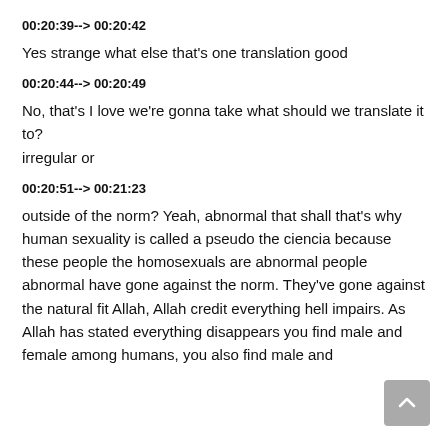00:20:39--> 00:20:42
Yes strange what else that's one translation good
00:20:44--> 00:20:49
No, that's I love we're gonna take what should we translate it to? irregular or
00:20:51--> 00:21:23
outside of the norm? Yeah, abnormal that shall that's why human sexuality is called a pseudo the ciencia because these people the homosexuals are abnormal people abnormal have gone against the norm. They've gone against the natural fit Allah, Allah credit everything hell impairs. As Allah has stated everything disappears you find male and female among humans, you also find male and